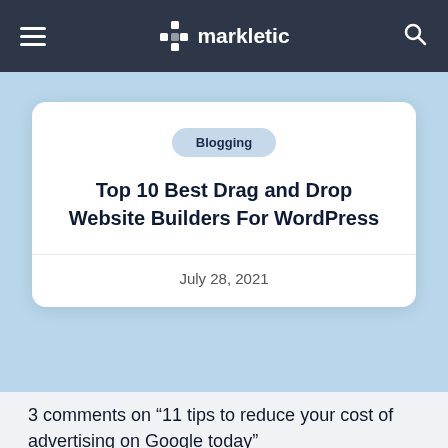markletic
Blogging
Top 10 Best Drag and Drop Website Builders For WordPress
July 28, 2021
3 comments on “11 tips to reduce your cost of advertising on Google today”